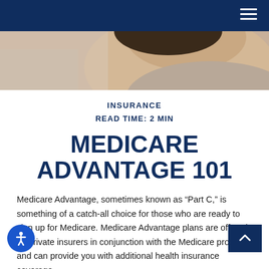[Figure (photo): Navigation bar with dark navy background and hamburger menu icon (three white lines) in top right corner]
[Figure (photo): Hero image showing a close-up of a person's neck and lower face/hair, with neutral beige/skin tones background]
INSURANCE
READ TIME: 2 MIN
MEDICARE ADVANTAGE 101
Medicare Advantage, sometimes known as “Part C,” is something of a catch-all choice for those who are ready to sign up for Medicare. Medicare Advantage plans are offered by private insurers in conjunction with the Medicare program, and can provide you with additional health insurance coverage.